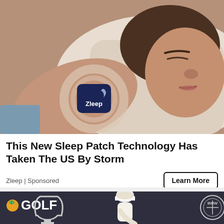[Figure (photo): A woman sleeping on a pillow with a Zleep sleep patch device on her arm, shown with a circular glow effect around it.]
This New Sleep Patch Technology Has Taken The US By Storm
Zleep | Sponsored
[Figure (photo): NBC Golf channel branded image showing a golfer in a white cap bending over, with a trophy and BMW logo partially visible.]